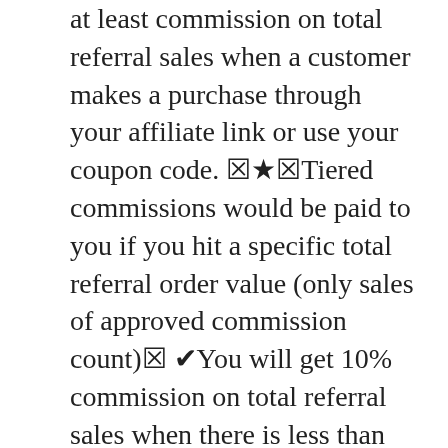at least commission on total referral sales when a customer makes a purchase through your affiliate link or use your coupon code. ☆★☆Tiered commissions would be paid to you if you hit a specific total referral order value (only sales of approved commission count)☆ ✔You will get 10% commission on total referral sales when there is less than $20000 in total referral sales ; ✔You will get 15% commission on total referral sales when reaching $20000~$50000 in total referral sales☆ ✔You will get 20% commission on total